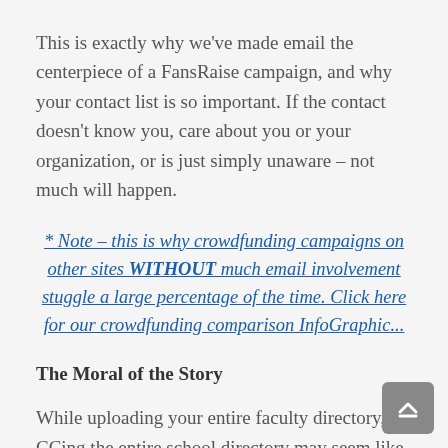This is exactly why we've made email the centerpiece of a FansRaise campaign, and why your contact list is so important. If the contact doesn't know you, care about you or your organization, or is just simply unaware – not much will happen.
* Note – this is why crowdfunding campaigns on other sites WITHOUT much email involvement stuggle a large percentage of the time. Click here for our crowdfunding comparison InfoGraphic...
The Moral of the Story
While uploading your entire faculty directory, or CCing the entire school directory may seem like a